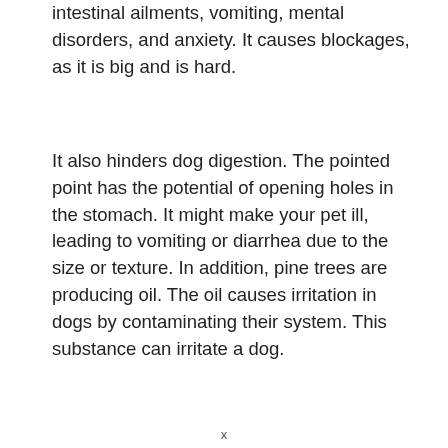intestinal ailments, vomiting, mental disorders, and anxiety. It causes blockages, as it is big and is hard.
It also hinders dog digestion. The pointed point has the potential of opening holes in the stomach. It might make your pet ill, leading to vomiting or diarrhea due to the size or texture. In addition, pine trees are producing oil. The oil causes irritation in dogs by contaminating their system. This substance can irritate a dog.
x